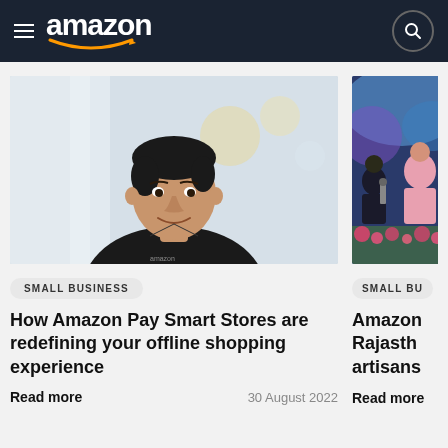amazon navigation bar with hamburger menu and search icon
[Figure (photo): Portrait photo of a man in a black Amazon polo shirt, smiling, with blurred office background]
[Figure (photo): Partially visible photo of an event stage with people and blue/purple lighting]
SMALL BUSINESS
SMALL BU
How Amazon Pay Smart Stores are redefining your offline shopping experience
Amazon Rajasth artisans
Read more
30 August 2022
Read more